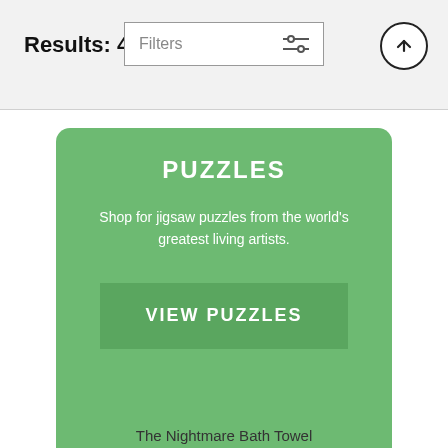Results: 452,235
PUZZLES
Shop for jigsaw puzzles from the world's greatest living artists.
VIEW PUZZLES
The Nightmare Bath Towel